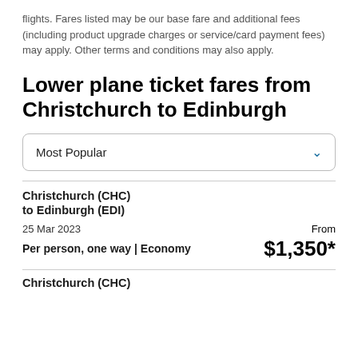flights. Fares listed may be our base fare and additional fees (including product upgrade charges or service/card payment fees) may apply. Other terms and conditions may also apply.
Lower plane ticket fares from Christchurch to Edinburgh
Most Popular
Christchurch (CHC)
to Edinburgh (EDI)
25 Mar 2023
Per person, one way | Economy
From $1,350*
Christchurch (CHC)